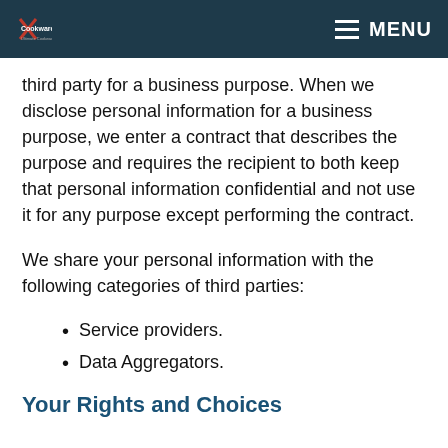Cookware Daily — MENU
third party for a business purpose. When we disclose personal information for a business purpose, we enter a contract that describes the purpose and requires the recipient to both keep that personal information confidential and not use it for any purpose except performing the contract.
We share your personal information with the following categories of third parties:
Service providers.
Data Aggregators.
Your Rights and Choices